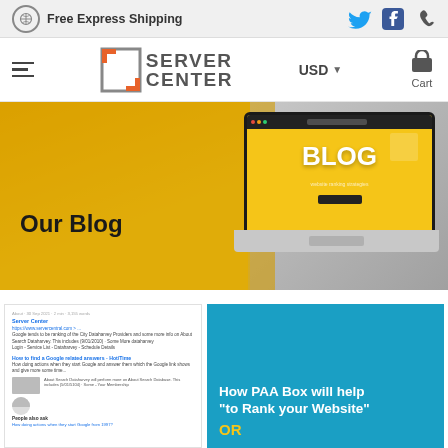Free Express Shipping
[Figure (screenshot): Server Center logo with hamburger menu, USD currency selector, and Cart icon in navigation bar]
[Figure (photo): Hero banner showing 'Our Blog' text on yellow background with laptop displaying a blog website on the right side]
[Figure (screenshot): Blog article card on the left showing Google search results content, and a teal card on the right with text 'How PAA Box will help to Rank your Website OR']